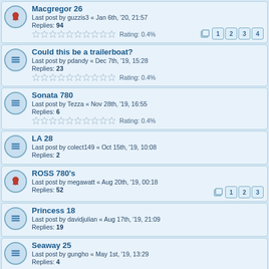Macgregor 26 - Last post by guzzis3 « Jan 6th, '20, 21:57 - Replies: 94 - Rating: 0.4%
Could this be a trailerboat? - Last post by pdandy « Dec 7th, '19, 15:28 - Replies: 23 - Rating: 0.4%
Sonata 780 - Last post by Tezza « Nov 28th, '19, 16:55 - Replies: 6 - Rating: 0.4%
LA 28 - Last post by colect149 « Oct 15th, '19, 10:08 - Replies: 2
ROSS 780's - Last post by megawatt « Aug 20th, '19, 00:18 - Replies: 52
Princess 18 - Last post by davidjulian « Aug 17th, '19, 21:09 - Replies: 19
Seaway 25 - Last post by gungho « May 1st, '19, 13:29 - Replies: 4
RL 24 Stability and Competition - Last post by gungho « Apr 30th, '19, 10:20 - Replies: 102